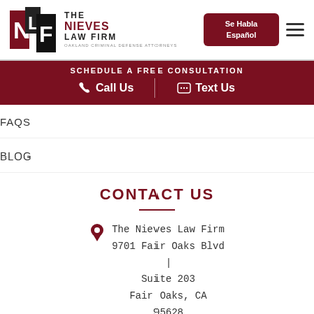[Figure (logo): The Nieves Law Firm logo with NLF monogram in red and black squares, and text 'THE NIEVES LAW FIRM - OAKLAND CRIMINAL DEFENSE ATTORNEYS']
Se Habla Español
SCHEDULE A FREE CONSULTATION
Call Us   Text Us
FAQS
BLOG
CONTACT US
The Nieves Law Firm
9701 Fair Oaks Blvd
Suite 203
Fair Oaks, CA
95628
Get Directions